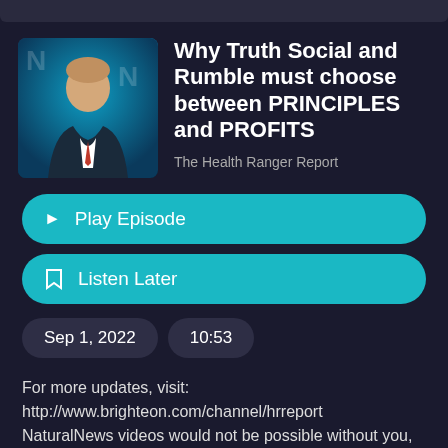[Figure (illustration): Health Ranger Report podcast thumbnail showing a man in a suit with blue background and 'HEALTH RANGER REPORT' text overlay]
Why Truth Social and Rumble must choose between PRINCIPLES and PROFITS
The Health Ranger Report
▶ Play Episode
🔖 Listen Later
Sep 1, 2022
10:53
For more updates, visit:
http://www.brighteon.com/channel/hrreport
NaturalNews videos would not be possible without you, as always we remain passionately dedicated to